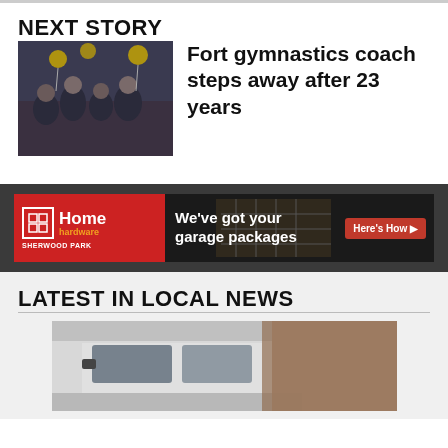NEXT STORY
[Figure (photo): Group photo of female gymnasts in uniforms with gold heart balloon decorations in background]
Fort gymnastics coach steps away after 23 years
[Figure (photo): Home Hardware Sherwood Park advertisement: We've got your garage packages - Here's How button]
LATEST IN LOCAL NEWS
[Figure (photo): Partial photo of a white pickup truck]